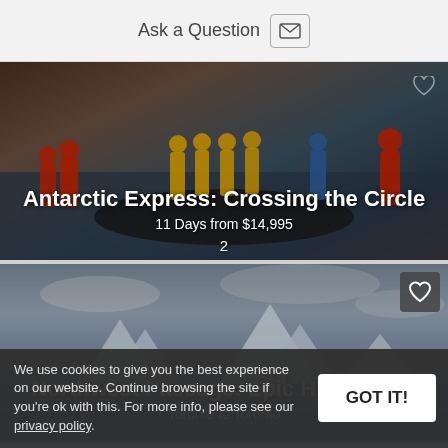Ask a Question
[Figure (photo): People in red and yellow survival suits managing a black inflatable zodiac boat near water. Tour card for Antarctic Express: Crossing the Circle.]
Antarctic Express: Crossing the Circle
11 Days from $14,995
[Figure (photo): Arctic seascape with icebergs and overcast sky. Small figures visible near water. Tour card for Northwest Passage: Epic High Arctic.]
Northwest Passage: Epic High Arctic
Toronto to Toronto
We use cookies to give you the best experience on our website. Continue browsing the site if you're ok with this. For more info, please see our privacy policy.